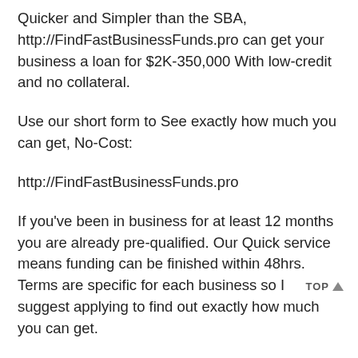Quicker and Simpler than the SBA, http://FindFastBusinessFunds.pro can get your business a loan for $2K-350,000 With low-credit and no collateral.
Use our short form to See exactly how much you can get, No-Cost:
http://FindFastBusinessFunds.pro
If you've been in business for at least 12 months you are already pre-qualified. Our Quick service means funding can be finished within 48hrs. Terms are specific for each business so I suggest applying to find out exactly how much you can get.
This is a free service from a qualified lender and the approval will be based on the annual revenue of your business. For details on Restrictions, all pricing, etc.